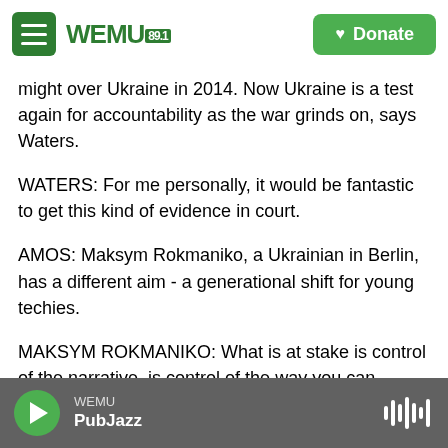[Figure (screenshot): WEMU 89.1 radio station website header with hamburger menu icon, WEMU logo, and green Donate button]
might over Ukraine in 2014. Now Ukraine is a test again for accountability as the war grinds on, says Waters.
WATERS: For me personally, it would be fantastic to get this kind of evidence in court.
AMOS: Maksym Rokmaniko, a Ukrainian in Berlin, has a different aim - a generational shift for young techies.
MAKSYM ROKMANIKO: What is at stake is control of the narrative, is control of the way you can interpret reality.
WEMU PubJazz